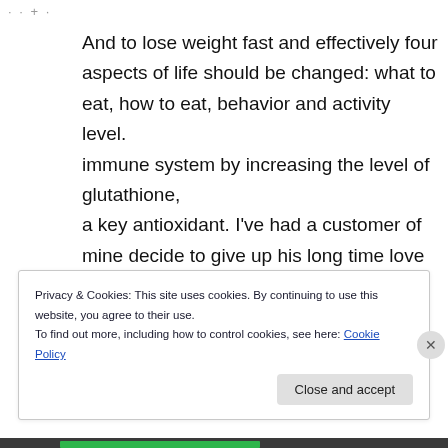· · + ·
And to lose weight fast and effectively four aspects of life should be changed: what to eat, how to eat, behavior and activity level. immune system by increasing the level of glutathione,
a key antioxidant. I've had a customer of mine decide to give up his long time love of chocolate, and decide to just focus on calorie counting, minor exercise,
and portion sizing.
Privacy & Cookies: This site uses cookies. By continuing to use this website, you agree to their use.
To find out more, including how to control cookies, see here: Cookie Policy
Close and accept